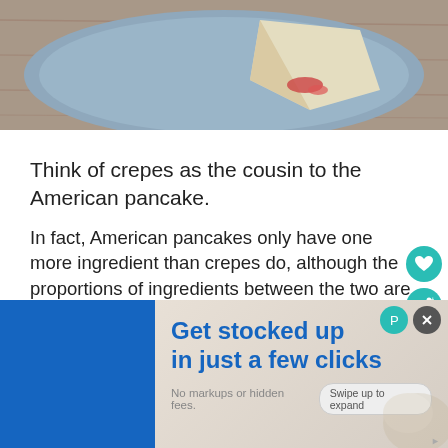[Figure (photo): Photo of a crepe folded on a blue plate on a wooden table, partially visible at top of page]
Think of crepes as the cousin to the American pancake.
In fact, American pancakes only have one more ingredient than crepes do, although the proportions of ingredients between the two are also slightly different.
Privacy & Cookies: This site uses cookies. By continuing to use this website, you agree to their use.
To find out more, including how to control cookies, see here:
Cookie Policy
[Figure (infographic): Advertisement banner: 'Get stocked up in just a few clicks. No markups or hidden fees. Swipe up to expand.']